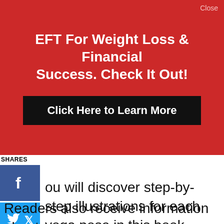[Figure (infographic): Red advertisement banner with bold white text 'EFT For Weight Loss & Financial Success. Check It Out!' and a black button 'Click Here to Learn More'. Small 'Close' link in top-right corner.]
SHARES
[Figure (infographic): Facebook share button (blue square with white 'f' icon)]
[Figure (infographic): Twitter share button (light blue square with white bird icon)]
[Figure (infographic): Pinterest share button (red square with white 'p' icon)]
ou will discover step-by-step illustrations for each yoga pose in this book.
Readers also receive information about